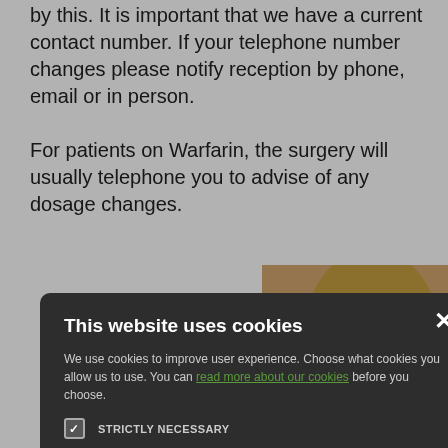by this. It is important that we have a current contact number. If your telephone number changes please notify reception by phone, email or in person.
For patients on Warfarin, the surgery will usually telephone you to advise of any dosage changes.
[Figure (photo): Photo of a young blonde girl looking downward, wearing a striped shirt, partially visible on the right side of the page]
[Figure (screenshot): Cookie consent modal dialog over the webpage content. Title: 'This website uses cookies'. Body text: 'We use cookies to improve user experience. Choose what cookies you allow us to use. You can read more about our cookies before you choose.' Checkboxes: STRICTLY NECESSARY (checked), PERFORMANCE (unchecked), TARGETING (unchecked), FUNCTIONALITY (unchecked). Buttons: ACCEPT ALL (green), DECLINE ALL (outline).]
high blood pressure